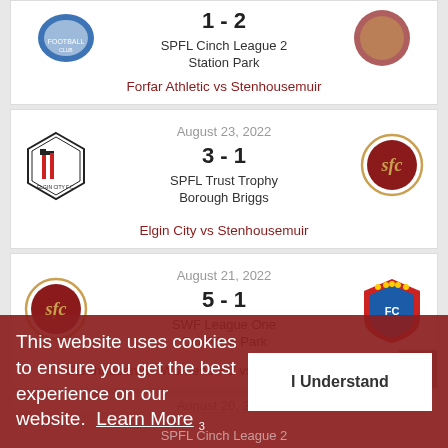1 - 2
SPFL Cinch League 2
Station Park
Forfar Athletic vs Stenhousemuir
August 23, 2022
3 - 1
SPFL Trust Trophy
Borough Briggs
Elgin City vs Stenhousemuir
August 21, 2022
5 - 1
SWF League One
Ochilview Park
Stenhousemuir Womens FC vs Dundee West
This website uses cookies to ensure you get the best experience on our website.
Learn More
I Understand
August 20, 2022
SPFL Cinch League 2